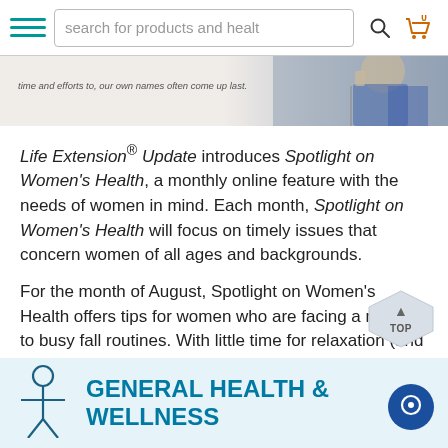search for products and health
[Figure (photo): Banner image with text: 'time and efforts to, our own names often come up last.' with a woman figure on the right side]
Life Extension® Update introduces Spotlight on Women's Health, a monthly online feature with the needs of women in mind. Each month, Spotlight on Women's Health will focus on timely issues that concern women of all ages and backgrounds.
For the month of August, Spotlight on Women's Health offers tips for women who are facing a return to busy fall routines. With little time for relaxation (and sometimes sleep!), it's important to carve some "me time" out of the eventful days ahead.
[Figure (illustration): TOP back-to-top hexagon button with upward arrow]
GENERAL HEALTH & WELLNESS
[Figure (illustration): Person/health icon (stick figure with horizontal arms) and chat bubble icon]